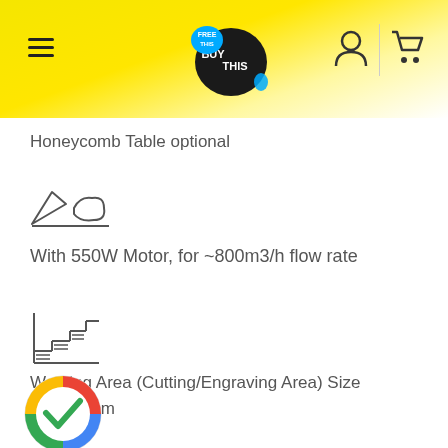BUY THIS (Free This) - navigation header with logo, hamburger menu, user icon, cart icon
Honeycomb Table optional
[Figure (illustration): Fan/air ventilation icon showing two stylized fan blades]
With 550W Motor, for ~800m3/h flow rate
[Figure (illustration): Stacked layers / material thickness icon]
Working Area (Cutting/Engraving Area) Size 2...0mm
[Figure (logo): Google colorful circular checkmark badge/logo]
[Figure (illustration): Frame/border alignment icon]